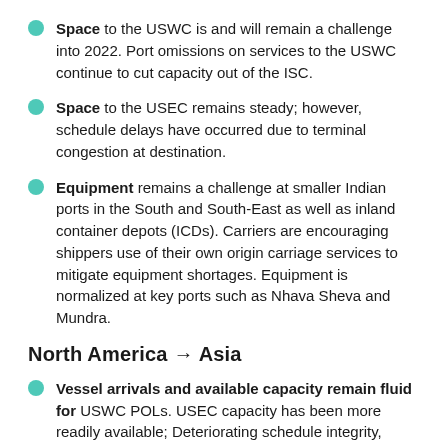Space to the USWC is and will remain a challenge into 2022. Port omissions on services to the USWC continue to cut capacity out of the ISC.
Space to the USEC remains steady; however, schedule delays have occurred due to terminal congestion at destination.
Equipment remains a challenge at smaller Indian ports in the South and South-East as well as inland container depots (ICDs). Carriers are encouraging shippers use of their own origin carriage services to mitigate equipment shortages. Equipment is normalized at key ports such as Nhava Sheva and Mundra.
North America → Asia
Vessel arrivals and available capacity remain fluid for USWC POLs. USEC capacity has been more readily available; Deteriorating schedule integrity,